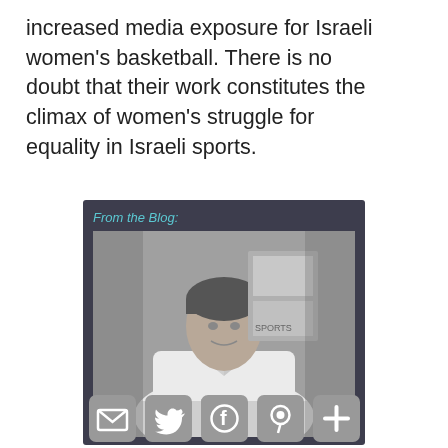increased media exposure for Israeli women's basketball. There is no doubt that their work constitutes the climax of women's struggle for equality in Israeli sports.
[Figure (photo): Black and white photo of a woman wearing a USA judo/martial arts uniform, with background showing posters. Label text 'From the Blog:' appears in teal italic above the photo on a dark background.]
[Figure (other): Social sharing icons bar: email (envelope), Twitter (bird), Facebook (f), Pinterest (P), and plus (+) icons, all in grey rounded squares.]